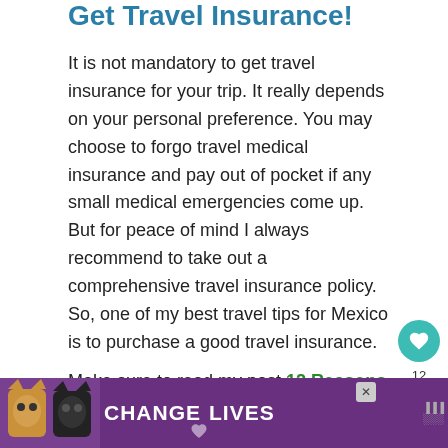Get Travel Insurance!
It is not mandatory to get travel insurance for your trip. It really depends on your personal preference. You may choose to forgo travel medical insurance and pay out of pocket if any small medical emergencies come up. But for peace of mind I always recommend to take out a comprehensive travel insurance policy. So, one of my best travel tips for Mexico is to purchase a good travel insurance.
Make sure to read my post 12 Reasons To Go Travel Insurance. To get a quote, click here.
[Figure (other): Purple advertisement banner at bottom of page with cat images and text 'CHANGE LIVES']